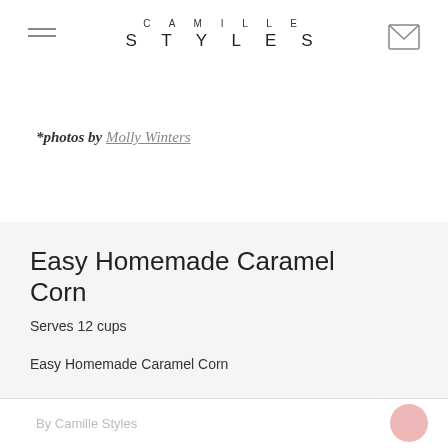CAMILLE STYLES
*photos by Molly Winters
Easy Homemade Caramel Corn
Serves 12 cups
Easy Homemade Caramel Corn
By Camille Styles